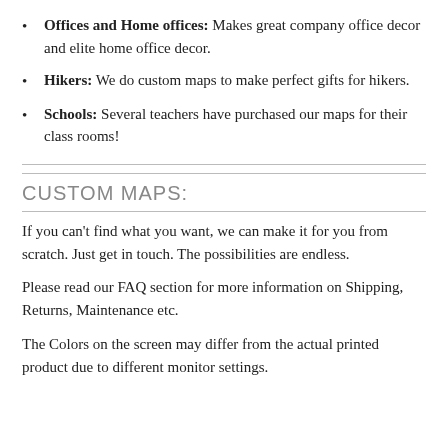Offices and Home offices: Makes great company office decor and elite home office decor.
Hikers: We do custom maps to make perfect gifts for hikers.
Schools: Several teachers have purchased our maps for their class rooms!
CUSTOM MAPS:
If you can't find what you want, we can make it for you from scratch. Just get in touch. The possibilities are endless.
Please read our FAQ section for more information on Shipping, Returns, Maintenance etc.
The Colors on the screen may differ from the actual printed product due to different monitor settings.